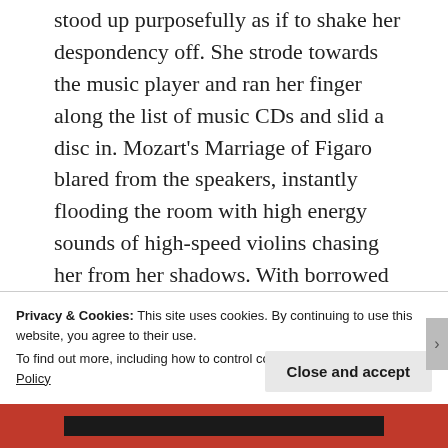stood up purposefully as if to shake her despondency off. She strode towards the music player and ran her finger along the list of music CDs and slid a disc in. Mozart's Marriage of Figaro blared from the speakers, instantly flooding the room with high energy sounds of high-speed violins chasing her from her shadows. With borrowed energy, Khushi began packing with meticulous rhythm, forcing cheer into her disposition. She was deliberate in choice of music, opting to play Mozart rather than Rehman.
Privacy & Cookies: This site uses cookies. By continuing to use this website, you agree to their use.
To find out more, including how to control cookies, see here: Cookie Policy
Close and accept